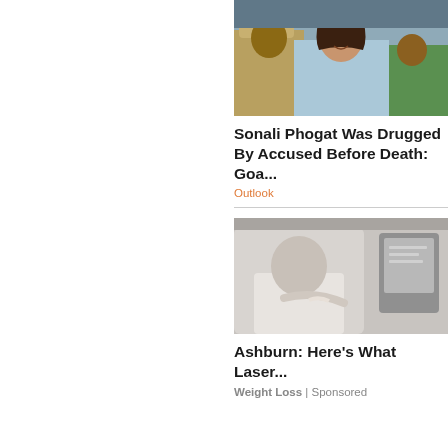[Figure (photo): A smiling woman in a light blue saree, with police officers standing behind her]
Sonali Phogat Was Drugged By Accused Before Death: Goa...
Outlook
[Figure (photo): A person seated in a car or vehicle interior, with medical or electronic devices visible]
Ashburn: Here's What Laser...
Weight Loss | Sponsored